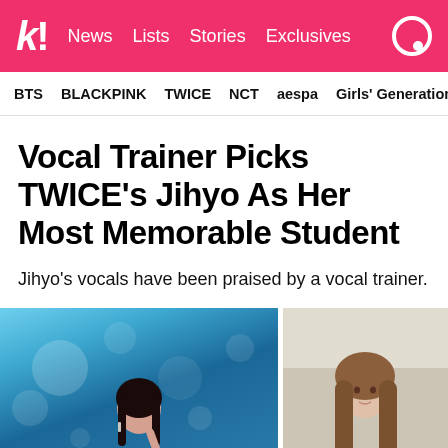k! News Lists Stories Exclusives
BTS BLACKPINK TWICE NCT aespa Girls' Generation
Vocal Trainer Picks TWICE's Jihyo As Her Most Memorable Student
Jihyo's vocals have been praised by a vocal trainer.
[Figure (photo): Two photos side by side: left photo shows Jihyo performing on stage holding a microphone in front of a blue bokeh background; right photo shows another person with long brown hair against a lighter background.]